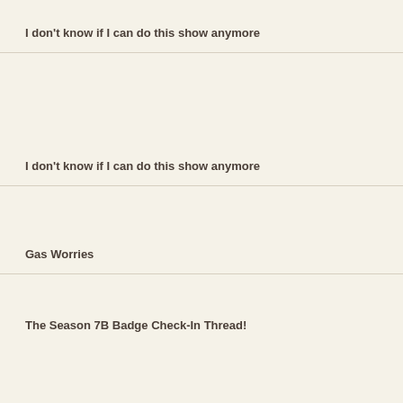I don't know if I can do this show anymore
I don't know if I can do this show anymore
Gas Worries
The Season 7B Badge Check-In Thread!